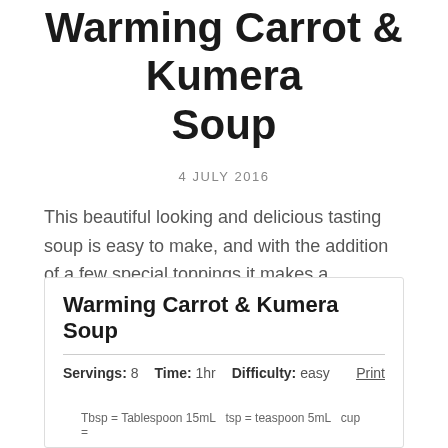Warming Carrot & Kumera Soup
4 JULY 2016
This beautiful looking and delicious tasting soup is easy to make, and with the addition of a few special toppings it makes a satisfying meal. The hint of ginger and lime bring an oriental influence to this classic autumn favourite. Enjoy!
Warming Carrot & Kumera Soup
Servings: 8  Time: 1hr  Difficulty: easy  Print
Tbsp = Tablespoon 15mL  tsp = teaspoon 5mL  cup =